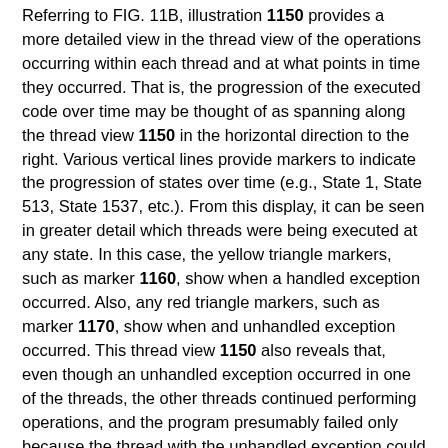Referring to FIG. 11B, illustration 1150 provides a more detailed view in the thread view of the operations occurring within each thread and at what points in time they occurred. That is, the progression of the executed code over time may be thought of as spanning along the thread view 1150 in the horizontal direction to the right. Various vertical lines provide markers to indicate the progression of states over time (e.g., State 1, State 513, State 1537, etc.). From this display, it can be seen in greater detail which threads were being executed at any state. In this case, the yellow triangle markers, such as marker 1160, show when a handled exception occurred. Also, any red triangle markers, such as marker 1170, show when and unhandled exception occurred. This thread view 1150 also reveals that, even though an unhandled exception occurred in one of the threads, the other threads continued performing operations, and the program presumably failed only because the thread with the unhandled exception could not proceed when it was finally its turn again.
Referring to FIGS. 12-1, 12-2 and 12-3, illustration 1200 provides a superimposed view of the thread view with the corresponding source code. The user may within the